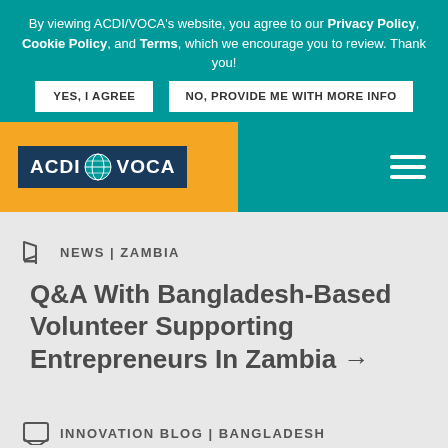By viewing ACDI/VOCA's website, you agree to our Privacy Policy, Cookie Policy, and Terms, which we encourage you to review. Thank you!
YES, I AGREE
NO, PROVIDE ME WITH MORE INFO
[Figure (logo): ACDI/VOCA logo with globe icon on dark blue background, displayed on an orange/amber header bar]
NEWS | ZAMBIA
Q&A With Bangladesh-Based Volunteer Supporting Entrepreneurs In Zambia →
INNOVATION BLOG | BANGLADESH